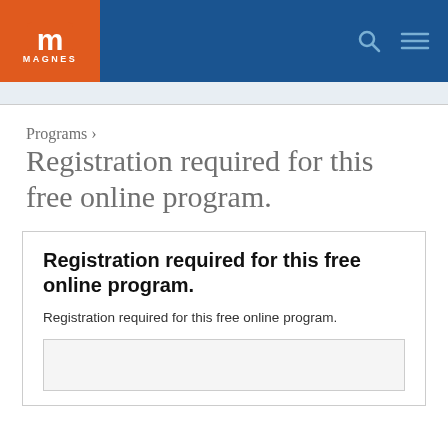MAGNES
Programs › Registration required for this free online program.
Registration required for this free online program.
Registration required for this free online program.